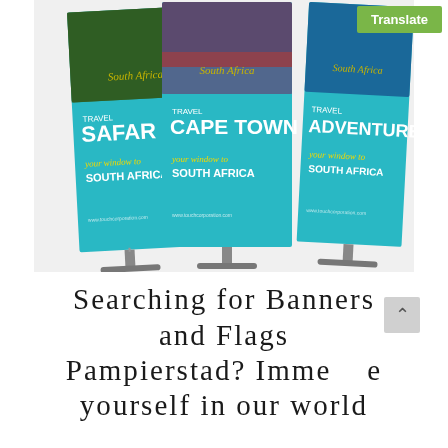[Figure (illustration): Three tall roll-up display banners for South Africa travel promotion. Left banner: 'TRAVEL SAFARI – your window to SOUTH AFRICA', middle banner: 'TRAVEL CAPE TOWN – your window to SOUTH AFRICA', right banner: 'TRAVEL ADVENTURE – your window to SOUTH AFRICA'. Each banner is teal/cyan colored with yellow italic script 'your window to' and white bold uppercase text. Photos of South African landscapes and activities appear at the top of each banner. Small 'South Africa' logo watermarks and website URLs visible on banners.]
Searching for Banners and Flags Pampierstad? Immerse yourself in our world